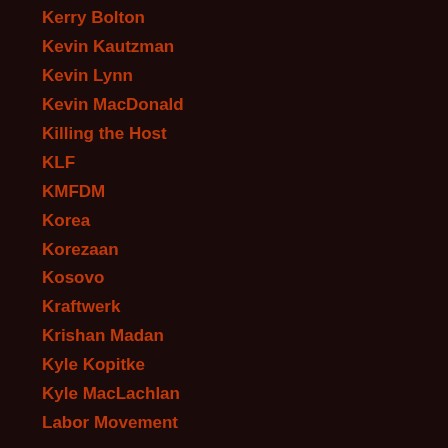Kerry Bolton
Kevin Kautzman
Kevin Lynn
Kevin MacDonald
Killing the Host
KLF
KMFDM
Korea
Korezaan
Kosovo
Kraftwerk
Krishan Madan
Kyle Kopitke
Kyle MacLachlan
Labor Movement